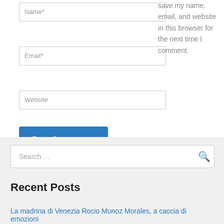Name*
Email*
Website
Save my name, email, and website in this browser for the next time I comment.
Post Comment »
Search …
Recent Posts
La madrina di Venezia Rocio Munoz Morales, a caccia di emozioni